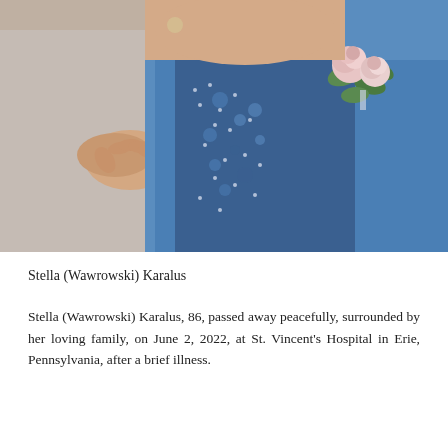[Figure (photo): Close-up photograph of an elderly woman wearing a blue outfit with a floral pattern blouse and a pink rose corsage. A hand is resting on her shoulder/arm.]
Stella (Wawrowski) Karalus
Stella (Wawrowski) Karalus, 86, passed away peacefully, surrounded by her loving family, on June 2, 2022, at St. Vincent's Hospital in Erie, Pennsylvania, after a brief illness.